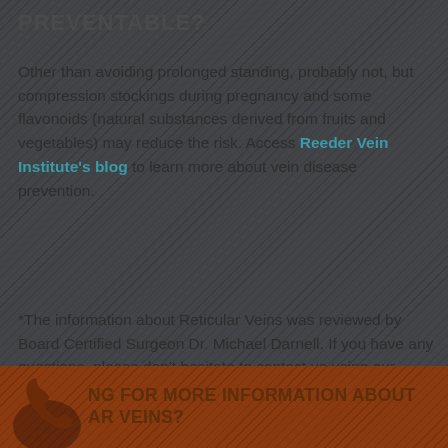PREVENTABLE?
Other than avoiding prolonged standing, probably not, but compression stockings during pregnancy and some flavonoids (natural substances derived from fruits and vegetables) may reduce the risk. Access Reeder Vein Institute's blog to learn more about vein disease prevention.
*The information about Reticular Veins was reviewed by Board Certified Surgeon Dr. Michael Darnell. If you have any questions, please don't hesitate to contact us using our contact form.
LOOKING FOR MORE INFORMATION ABOUT RETICULAR VEINS?